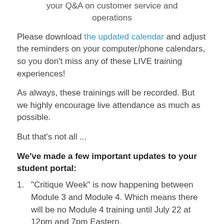your Q&A on customer service and operations
Please download the updated calendar and adjust the reminders on your computer/phone calendars, so you don't miss any of these LIVE training experiences!
As always, these trainings will be recorded. But we highly encourage live attendance as much as possible.
But that's not all ...
We've made a few important updates to your student portal:
"Critique Week" is now happening between Module 3 and Module 4. Which means there will be no Module 4 training until July 22 at 12pm and 7pm Eastern.
To participate in Critique Week, we've added a tab labeled "CRITIQUE" to the student portal where you can pre-submit your completed Action Steps for